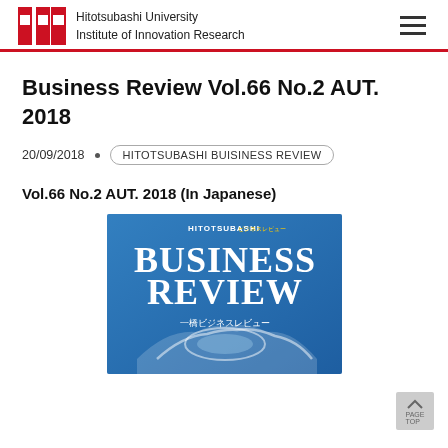Hitotsubashi University Institute of Innovation Research
Business Review Vol.66 No.2 AUT. 2018
20/09/2018 • HITOTSUBASHI BUISINESS REVIEW
Vol.66 No.2 AUT. 2018 (In Japanese)
[Figure (photo): Cover image of Hitotsubashi Business Review journal, Vol.66 No.2 AUT. 2018, showing a blue background with the title 'BUSINESS REVIEW' in large white letters, subtitle in Japanese '一橋ビジネスレビュー', and an illustration of a car.]